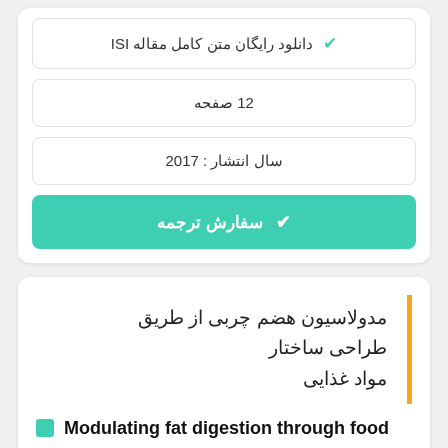✔ دانلود رایگان متن کامل مقاله ISI
12 صفحه
سال انتشار : 2017
✔ سفارش ترجمه
مدولاسیون هضم چربی از طریق طراحی ساختار مواد غذایی
Modulating fat digestion through food